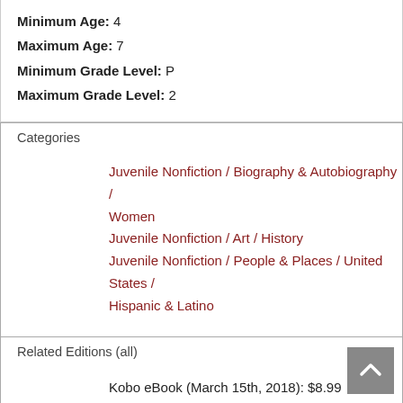Minimum Age: 4
Maximum Age: 7
Minimum Grade Level: P
Maximum Grade Level: 2
Categories
Juvenile Nonfiction / Biography & Autobiography / Women
Juvenile Nonfiction / Art / History
Juvenile Nonfiction / People & Places / United States / Hispanic & Latino
Related Editions (all)
Kobo eBook (March 15th, 2018): $8.99
Board book (March 15th, 2018): $9.99